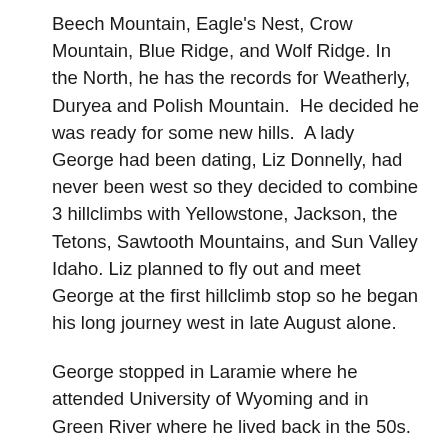Beech Mountain, Eagle's Nest, Crow Mountain, Blue Ridge, and Wolf Ridge. In the North, he has the records for Weatherly, Duryea and Polish Mountain.  He decided he was ready for some new hills.  A lady George had been dating, Liz Donnelly, had never been west so they decided to combine 3 hillclimbs with Yellowstone, Jackson, the Tetons, Sawtooth Mountains, and Sun Valley Idaho. Liz planned to fly out and meet George at the first hillclimb stop so he began his long journey west in late August alone.
George stopped in Laramie where he attended University of Wyoming and in Green River where he lived back in the 50s. He stopped in Soda Springs, Idaho where Todd and Tracy were born. Not much had changed over years but spring water was still bubbling and the visits brought back a lot of fond memories. Somewhere along the way, George realized he had